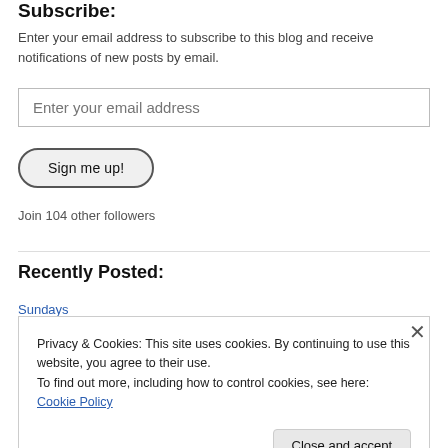Subscribe:
Enter your email address to subscribe to this blog and receive notifications of new posts by email.
Enter your email address
Sign me up!
Join 104 other followers
Recently Posted:
Sundays
Privacy & Cookies: This site uses cookies. By continuing to use this website, you agree to their use.
To find out more, including how to control cookies, see here: Cookie Policy
Close and accept